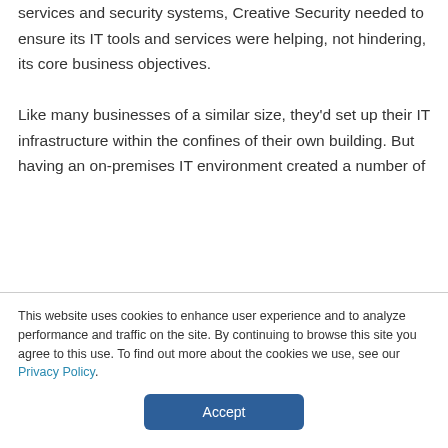services and security systems, Creative Security needed to ensure its IT tools and services were helping, not hindering, its core business objectives.

Like many businesses of a similar size, they'd set up their IT infrastructure within the confines of their own building. But having an on-premises IT environment created a number of
This website uses cookies to enhance user experience and to analyze performance and traffic on the site. By continuing to browse this site you agree to this use. To find out more about the cookies we use, see our Privacy Policy.
Accept